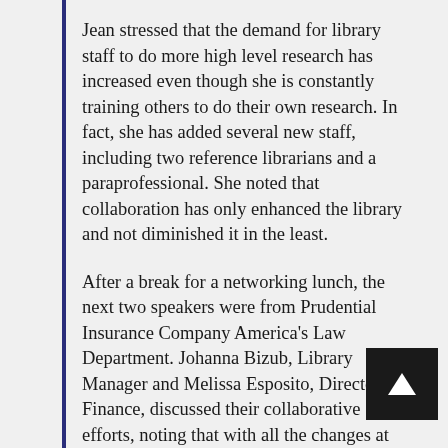Jean stressed that the demand for library staff to do more high level research has increased even though she is constantly training others to do their own research. In fact, she has added several new staff, including two reference librarians and a paraprofessional. She noted that collaboration has only enhanced the library and not diminished it in the least.
After a break for a networking lunch, the next two speakers were from Prudential Insurance Company America's Law Department. Johanna Bizub, Library Manager and Melissa Esposito, Director of Finance, discussed their collaborative efforts, noting that with all the changes at Prudential, the budget process is now an all-year event, not confined to just the